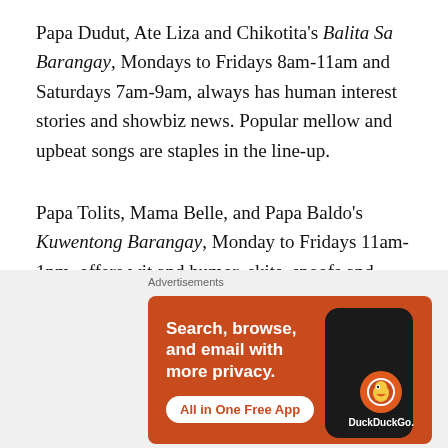Papa Dudut, Ate Liza and Chikotita's Balita Sa Barangay, Mondays to Fridays 8am-11am and Saturdays 7am-9am, always has human interest stories and showbiz news. Popular mellow and upbeat songs are staples in the line-up.
Papa Tolits, Mama Belle, and Papa Baldo's Kuwentong Barangay, Monday to Fridays 11am-1pm, offers wit and humor, skits, spoofs and gags derived from jokes sent thru text messaging.
Meanwhile, Talk to Papa with Papa Kiko and Papa Obet,
[Figure (other): DuckDuckGo advertisement banner: orange background with text 'Search, browse, and email with more privacy. All in One Free App' alongside a phone image and DuckDuckGo logo.]